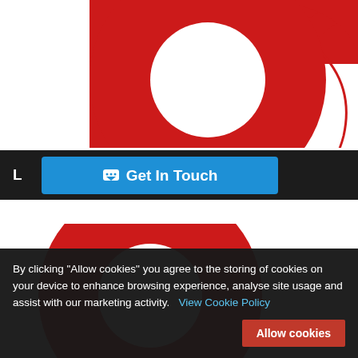[Figure (logo): Large red stylized 'S' letter logo on white background, split by a dark horizontal navigation bar]
MUSIK
Get In Touch
By clicking "Allow cookies" you agree to the storing of cookies on your device to enhance browsing experience, analyse site usage and assist with our marketing activity.   View Cookie Policy
Allow cookies